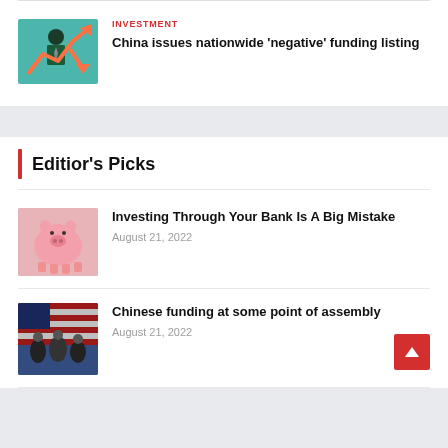[Figure (illustration): Illustration of a businessman with an arrow chart showing investment trends on teal background]
INVESTMENT
China issues nationwide ‘negative’ funding listing
Editior’s Picks
[Figure (photo): Pink piggy bank]
Investing Through Your Bank Is A Big Mistake
August 21, 2022
[Figure (photo): People in front of American flags]
Chinese funding at some point of assembly
August 21, 2022